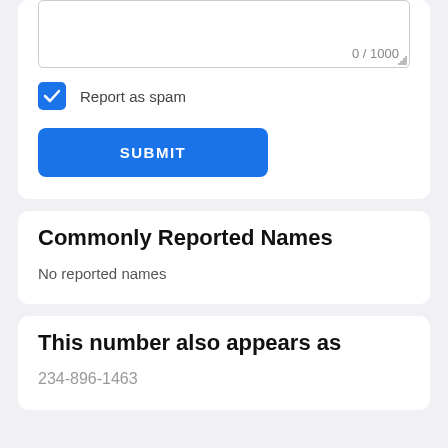[Figure (screenshot): Textarea input stub with character counter showing 0 / 1000]
Report as spam
SUBMIT
Commonly Reported Names
No reported names
This number also appears as
234-896-1463